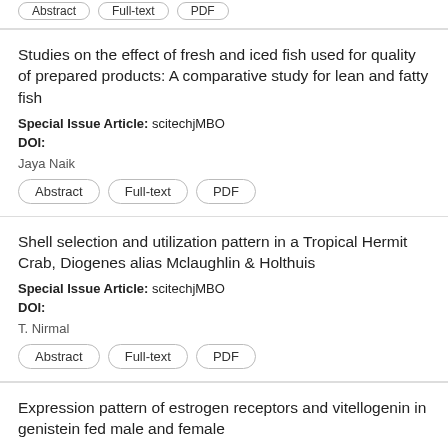[stub buttons: Abstract, Full-text, PDF]
Studies on the effect of fresh and iced fish used for quality of prepared products: A comparative study for lean and fatty fish
Special Issue Article: scitechjMBO
DOI:
Jaya Naik
Abstract | Full-text | PDF
Shell selection and utilization pattern in a Tropical Hermit Crab, Diogenes alias Mclaughlin & Holthuis
Special Issue Article: scitechjMBO
DOI:
T. Nirmal
Abstract | Full-text | PDF
Expression pattern of estrogen receptors and vitellogenin in genistein fed male and female